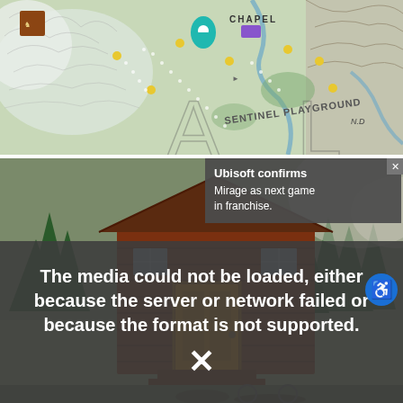[Figure (screenshot): Top-down game map screenshot showing 'SENTINEL PLAYGROUND' area with snowy terrain, dotted paths, icons, and various map labels including 'CHAPEL' and 'N.D.']
[Figure (screenshot): Game screenshot showing a red/brown wooden cabin with an orange door surrounded by pine trees and snowy environment]
The media could not be loaded, either because the server or network failed or because the format is not supported.
Ubisoft confirms Mirage as next game in franchise.